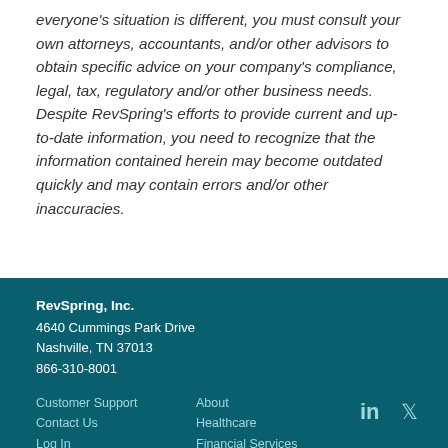everyone's situation is different, you must consult your own attorneys, accountants, and/or other advisors to obtain specific advice on your company's compliance, legal, tax, regulatory and/or other business needs. Despite RevSpring's efforts to provide current and up-to-date information, you need to recognize that the information contained herein may become outdated quickly and may contain errors and/or other inaccuracies.
RevSpring, Inc.
4640 Cummings Park Drive
Nashville, TN 37013
866-310-8001

Customer Support  About
Contact Us  Healthcare
Log In  Financial Services